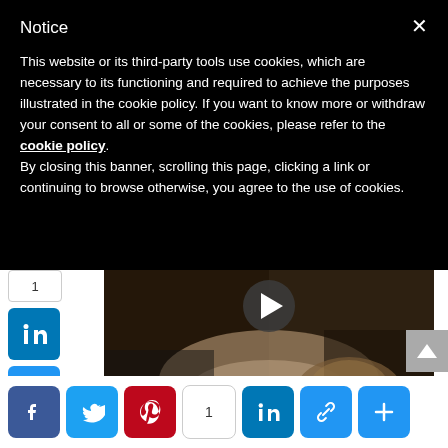Notice
This website or its third-party tools use cookies, which are necessary to its functioning and required to achieve the purposes illustrated in the cookie policy. If you want to know more or withdraw your consent to all or some of the cookies, please refer to the cookie policy.
By closing this banner, scrolling this page, clicking a link or continuing to browse otherwise, you agree to the use of cookies.
[Figure (screenshot): Video thumbnail showing a person receiving a facial treatment, with a play button overlay]
[Figure (logo): + BLOGLOVIN' badge in black]
[icegram campaigns="19035"]
[Figure (infographic): Social share buttons: Facebook, Twitter, Pinterest, count:1, LinkedIn, Link, Plus]